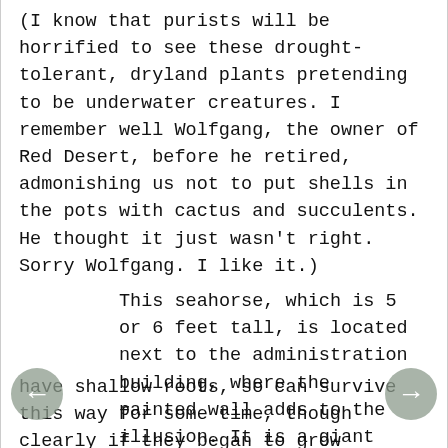(I know that purists will be horrified to see these drought-tolerant, dryland plants pretending to be underwater creatures. I remember well Wolfgang, the owner of Red Desert, before he retired, admonishing us not to put shells in the pots with cactus and succulents. He thought it just wasn't right. Sorry Wolfgang. I like it.)
This seahorse, which is 5 or 6 feet tall, is located next to the administration building, where the painted wall adds to the illusion. It is a giant example of the idea of inserting succulents in wreaths and other decorations. Many succulents have shallow roots, so can survive this way for some time, though clearly if they began to grow